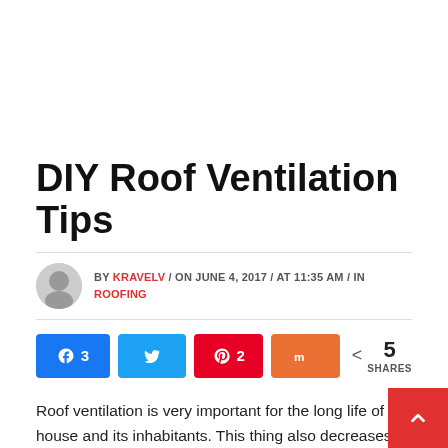DIY Roof Ventilation Tips
BY KRAVELV / ON JUNE 4, 2017 / AT 11:35 AM / IN ROOFING
[Figure (infographic): Social share buttons: Facebook (3), Twitter, Pinterest (2), StumbleUpon. Total 5 SHARES.]
Roof ventilation is very important for the long life of the house and its inhabitants. This thing also decreases the cooling bill prices in summer. It increases the life of the